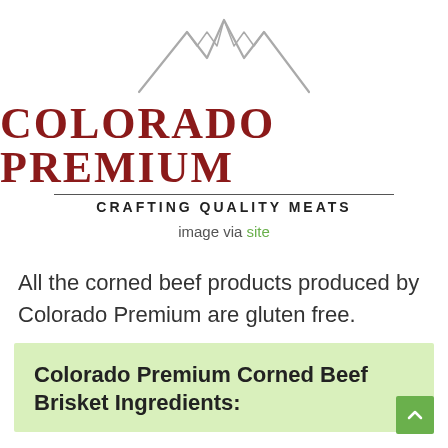[Figure (logo): Colorado Premium logo with mountain silhouette graphic above the text 'COLORADO PREMIUM' in dark red serif font, with a horizontal line below, and tagline 'CRAFTING QUALITY MEATS' in black bold uppercase sans-serif]
image via site
All the corned beef products produced by Colorado Premium are gluten free.
Colorado Premium Corned Beef Brisket Ingredients: